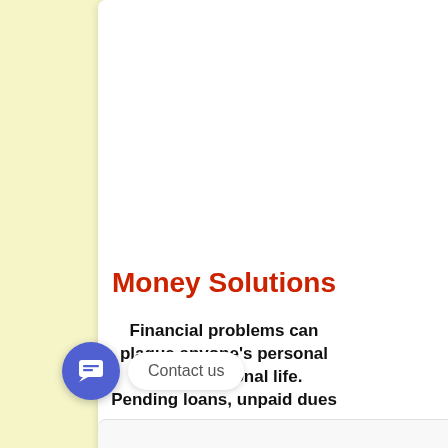Money Solutions
Financial problems can plague anyone's personal or professional life. Pending loans, unpaid dues
[Figure (other): Chat widget with blue circular button and 'Contact us' speech bubble]